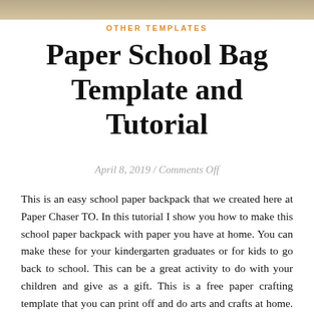OTHER TEMPLATES
Paper School Bag Template and Tutorial
April 8, 2019 / Comments Off
This is an easy school paper backpack that we created here at Paper Chaser TO. In this tutorial I show you how to make this school paper backpack with paper you have at home. You can make these for your kindergarten graduates or for kids to go back to school. This can be a great activity to do with your children and give as a gift. This is a free paper crafting template that you can print off and do arts and crafts at home. I hope you enjoy. Table of Contents: Materials Needed Video Tutorial Written Instruction Step 1 Step 2 Step 3 Step 4 Step 5 Materials Needed:...